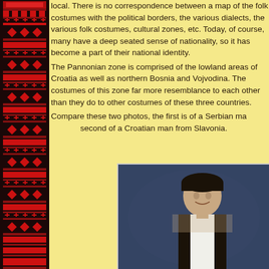[Figure (illustration): Decorative red and black embroidery/textile pattern forming a vertical border on the left side of the page]
local. There is no correspondence between a map of the folk costumes with the political borders, the various dialects, the various folk costumes, cultural zones, etc. Today, of course, many have a deep seated sense of nationality, so it has become a part of their national identity.
The Pannonian zone is comprised of the lowland areas of Croatia as well as northern Bosnia and Vojvodina. The costumes of this zone far more resemblance to each other than they do to other costumes of these three countries.
Compare these two photos, the first is of a Serbian man, and the second of a Croatian man from Slavonia.
[Figure (photo): Photo of a young man wearing traditional folk costume — black vest over white shirt, and a black cap — representing Serbian or Croatian traditional dress]